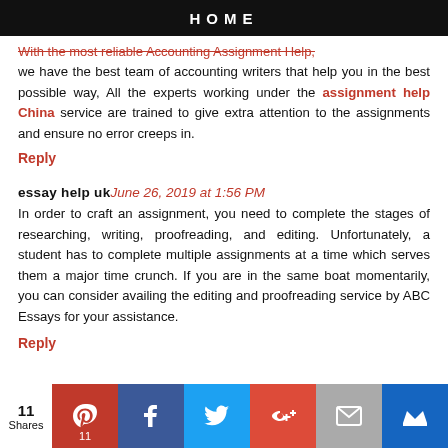HOME
With the most reliable Accounting Assignment Help, we have the best team of accounting writers that help you in the best possible way, All the experts working under the assignment help China service are trained to give extra attention to the assignments and ensure no error creeps in.
Reply
essay help uk — June 26, 2019 at 1:56 PM
In order to craft an assignment, you need to complete the stages of researching, writing, proofreading, and editing. Unfortunately, a student has to complete multiple assignments at a time which serves them a major time crunch. If you are in the same boat momentarily, you can consider availing the editing and proofreading service by ABC Essays for your assistance.
Reply